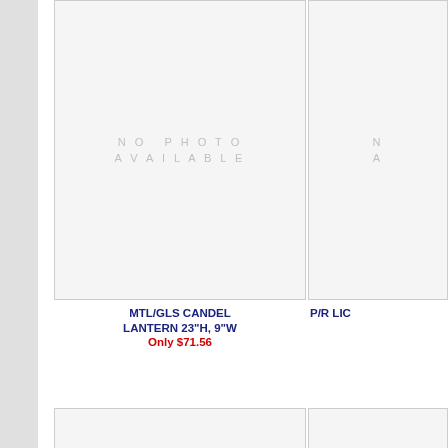[Figure (photo): No photo available placeholder for MTL/GLS CANDEL LANTERN]
[Figure (photo): No photo available placeholder for P/R LIC (partially visible)]
MTL/GLS CANDEL LANTERN 23"H, 9"W
Only $71.56
P/R LIC
[Figure (photo): No photo available placeholder for WD MAGAZINE RACK]
[Figure (photo): No photo available placeholder for WD MA (partially visible)]
WD MAGAZINE RACK 17"H, 16"W
Only $51.31
WD MA